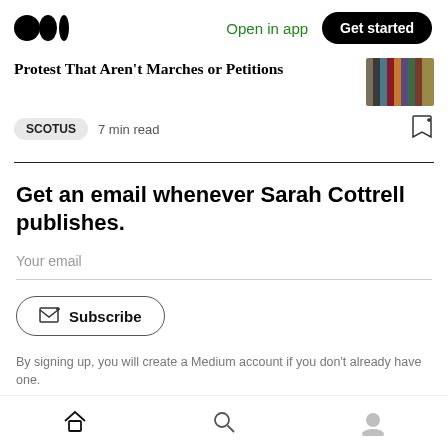Medium — Open in app — Get started
Protest That Aren't Marches or Petitions
SCOTUS  7 min read
Get an email whenever Sarah Cottrell publishes.
Your email
Subscribe
By signing up, you will create a Medium account if you don't already have one.
Home  Search  Profile